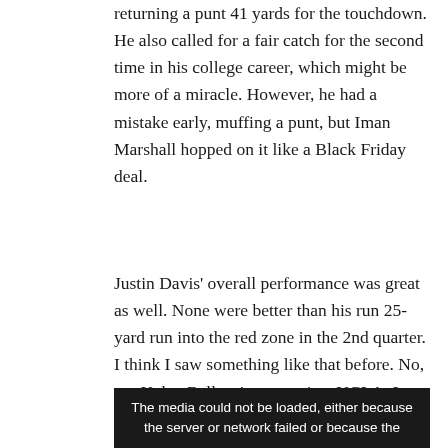returning a punt 41 yards for the touchdown. He also called for a fair catch for the second time in his college career, which might be more of a miracle. However, he had a mistake early, muffing a punt, but Iman Marshall hopped on it like a Black Friday deal.
Justin Davis' overall performance was great as well. None were better than his run 25-yard run into the red zone in the 2nd quarter. I think I saw something like that before. No, not Kalen Ballage's run against UCLA. I saw them do that in the Ender's Game movie first.
[Figure (other): Black media player error box with text: 'The media could not be loaded, either because the server or network failed or because the']